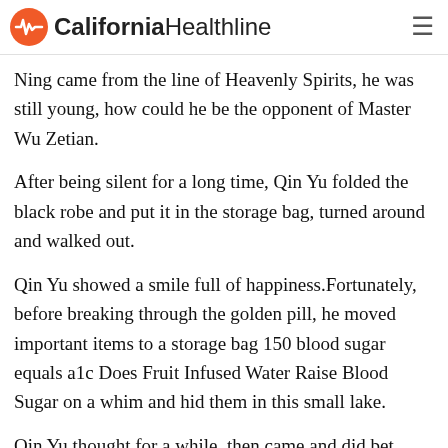California Healthline
Ning came from the line of Heavenly Spirits, he was still young, how could he be the opponent of Master Wu Zetian.
After being silent for a long time, Qin Yu folded the black robe and put it in the storage bag, turned around and walked out.
Qin Yu showed a smile full of happiness.Fortunately, before breaking through the golden pill, he moved important items to a storage bag 150 blood sugar equals a1c Does Fruit Infused Water Raise Blood Sugar on a whim and hid them in this small lake.
Qin Yu thought for a while, then came and did bet...